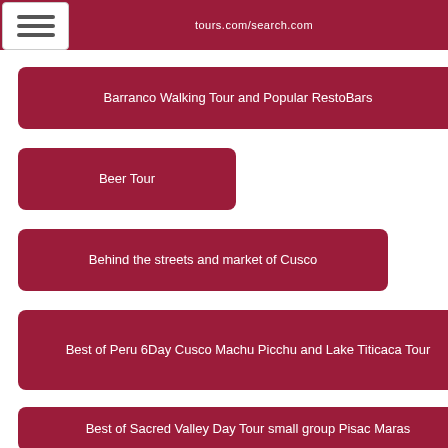tours.com/search.com
Barranco Walking Tour and Popular RestoBars
Beer Tour
Behind the streets and market of Cusco
Best of Peru 6Day Cusco Machu Picchu and Lake Titicaca Tour
Best of Sacred Valley Day Tour small group Pisac Maras